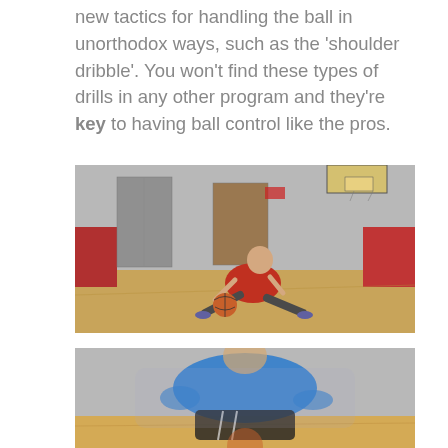new tactics for handling the ball in unorthodox ways, such as the 'shoulder dribble'. You won't find these types of drills in any other program and they're key to having ball control like the pros.
[Figure (photo): A bald man in a red shirt and dark shorts doing an extreme lateral lunge on a basketball court gymnasium floor, holding a basketball at low level. Gray walls, red wall pads, and a basketball hoop are visible in the background.]
[Figure (photo): A blurry close-up action shot of a player in a blue shirt and black shorts dribbling a basketball on a hardwood court floor.]